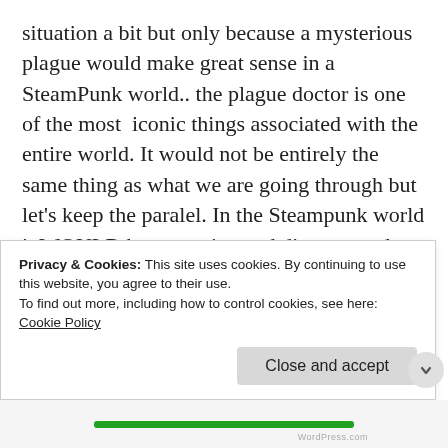situation a bit but only because a mysterious plague would make great sense in a SteamPunk world.. the plague doctor is one of the most iconic things associated with the entire world. It would not be entirely the same thing as what we are going through but let's keep the paralel. In the Steampunk world it WOULD be an engineered disease used to exert control.. we will steer heavily into those ridiculous conspiracy theories out there ..because they just fit the world like a glove. Mysterious Plague Doctors would appear .. as well as corrupted governments refusing to give up their power.. and I
Privacy & Cookies: This site uses cookies. By continuing to use this website, you agree to their use.
To find out more, including how to control cookies, see here: Cookie Policy
Close and accept